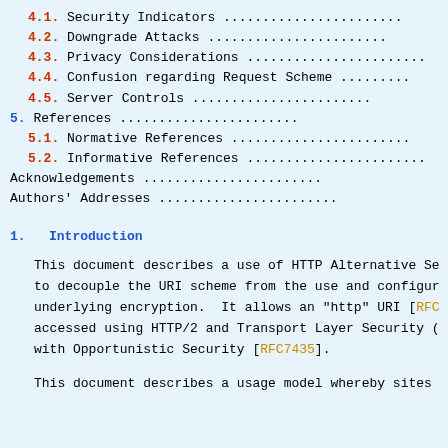4.1. Security Indicators .......................
4.2. Downgrade Attacks .......................
4.3. Privacy Considerations .......................
4.4. Confusion regarding Request Scheme .....
4.5. Server Controls .......................
5. References .......................
5.1. Normative References .......................
5.2. Informative References .......................
Acknowledgements .......................
Authors' Addresses .......................
1. Introduction
This document describes a use of HTTP Alternative Se to decouple the URI scheme from the use and configur underlying encryption.  It allows an "http" URI [RFC accessed using HTTP/2 and Transport Layer Security ( with Opportunistic Security [RFC7435].
This document describes a usage model whereby sites